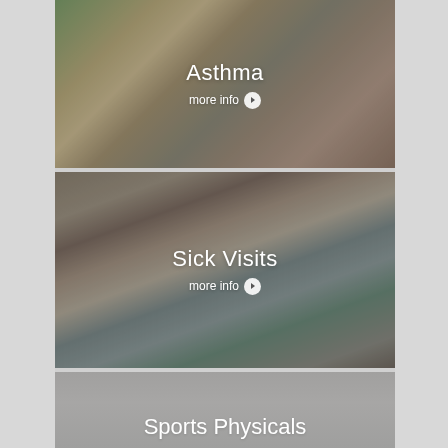[Figure (photo): Woman using an asthma inhaler outdoors with greenery in background]
Asthma
more info >
[Figure (photo): Person lying down sick with a hand on their forehead and a thermometer visible]
Sick Visits
more info >
[Figure (photo): Sports Physicals card with gray background, partially visible]
Sports Physicals